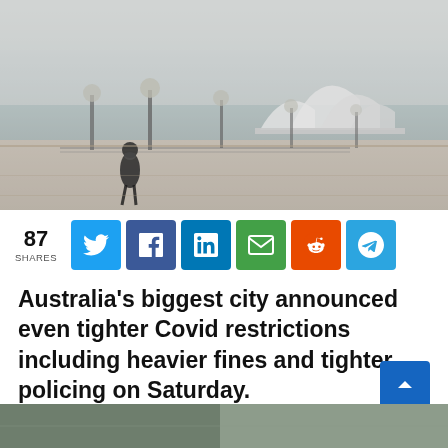[Figure (photo): Sydney Opera House in foggy/misty weather with a lone pedestrian walking along the empty waterfront promenade]
87 SHARES
[Figure (infographic): Social sharing buttons: Twitter, Facebook, LinkedIn, Email, Reddit, Telegram]
Australia's biggest city announced even tighter Covid restrictions including heavier fines and tighter policing on Saturday.
[Figure (photo): Partial bottom image, cropped]